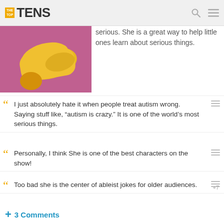THE TOP TENS
[Figure (photo): Close-up photo of a person wearing yellow and pink clothing]
serious. She is a great way to help little ones learn about serious things.
I just absolutely hate it when people treat autism wrong. Saying stuff like, "autism is crazy." It is one of the world's most serious things.
Personally, I think She is one of the best characters on the show!
Too bad she is the center of ableist jokes for older audiences.
+ 3 Comments